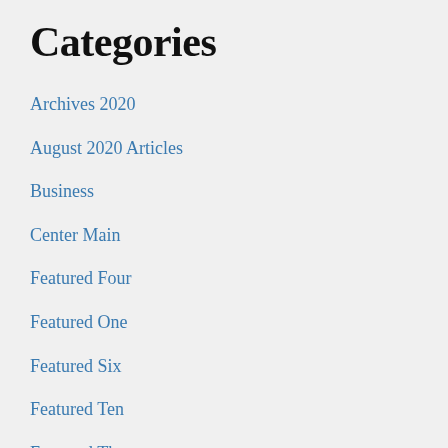Categories
Archives 2020
August 2020 Articles
Business
Center Main
Featured Four
Featured One
Featured Six
Featured Ten
Featured Three
July 2020 Articles
June 2020 Articles
Lifestyle